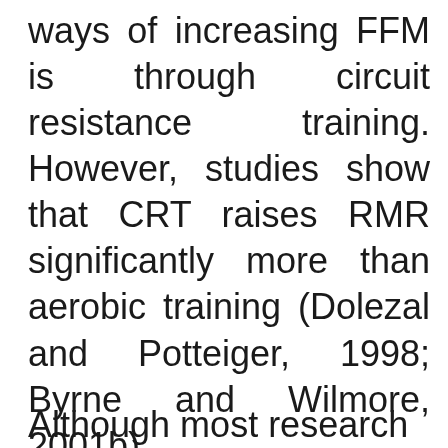ways of increasing FFM is through circuit resistance training. However, studies show that CRT raises RMR significantly more than aerobic training (Dolezal and Potteiger, 1998; Byrne and Wilmore, 2001b).
Although most research